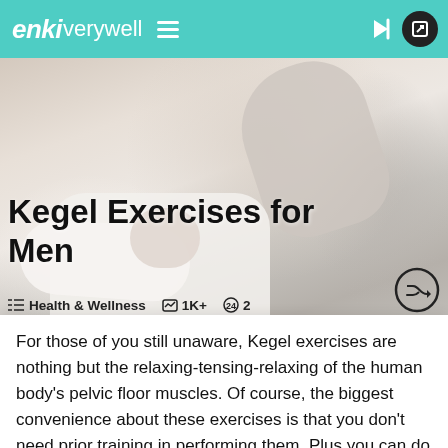enki verywell
[Figure (photo): Person performing a kegel/pelvic floor exercise, seen from an angle showing torso and arms against a light background]
Kegel Exercises for Men
≡ Health & Wellness   🖼 1K+   🔍 2
For those of you still unaware, Kegel exercises are nothing but the relaxing-tensing-relaxing of the human body's pelvic floor muscles. Of course, the biggest convenience about these exercises is that you don't need prior training in performing them. Plus you can do them at any place and during any time of the day. Got 5 minutes extra in your lunch break? Do your Kegels.